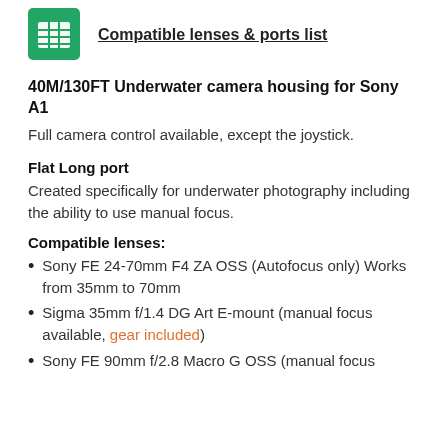[Figure (logo): Google Sheets green icon with grid symbol]
Compatible lenses & ports list
40M/130FT Underwater camera housing for Sony A1
Full camera control available, except the joystick.
Flat Long port
Created specifically for underwater photography including the ability to use manual focus.
Compatible lenses:
Sony FE 24-70mm F4 ZA OSS (Autofocus only) Works from 35mm to 70mm
Sigma 35mm f/1.4 DG Art E-mount (manual focus available, gear included)
Sony FE 90mm f/2.8 Macro G OSS (manual focus available, gear included)